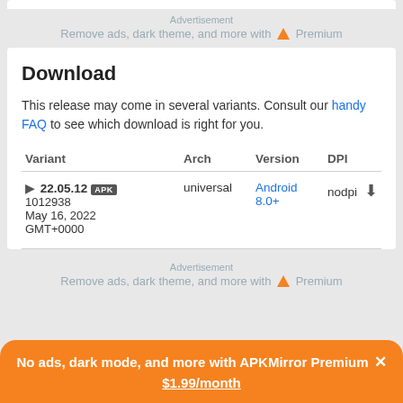Advertisement
Remove ads, dark theme, and more with ▲ Premium
Download
This release may come in several variants. Consult our handy FAQ to see which download is right for you.
| Variant | Arch | Version | DPI |
| --- | --- | --- | --- |
| 22.05.12 APK 1012938 May 16, 2022 GMT+0000 | universal | Android 8.0+ | nodpi ↓ |
Advertisement
Remove ads, dark theme, and more with ▲ Premium
No ads, dark mode, and more with APKMirror Premium × $1.99/month